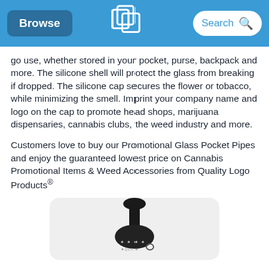Browse | Quality Logo Products | Search
go use, whether stored in your pocket, purse, backpack and more. The silicone shell will protect the glass from breaking if dropped. The silicone cap secures the flower or tobacco, while minimizing the smell. Imprint your company name and logo on the cap to promote head shops, marijuana dispensaries, cannabis clubs, the weed industry and more.
Customers love to buy our Promotional Glass Pocket Pipes and enjoy the guaranteed lowest price on Cannabis Promotional Items & Weed Accessories from Quality Logo Products®
[Figure (photo): Black glass pocket pipe with silicone cap shown against a light grey rounded rectangle background]